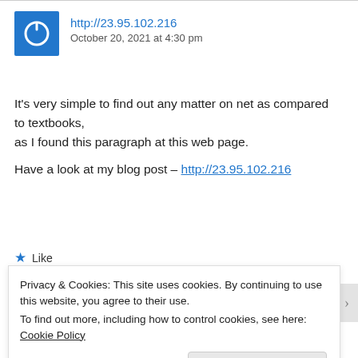http://23.95.102.216
October 20, 2021 at 4:30 pm
It's very simple to find out any matter on net as compared to textbooks,
as I found this paragraph at this web page.

Have a look at my blog post – http://23.95.102.216
★ Like
Privacy & Cookies: This site uses cookies. By continuing to use this website, you agree to their use.
To find out more, including how to control cookies, see here: Cookie Policy

Close and accept